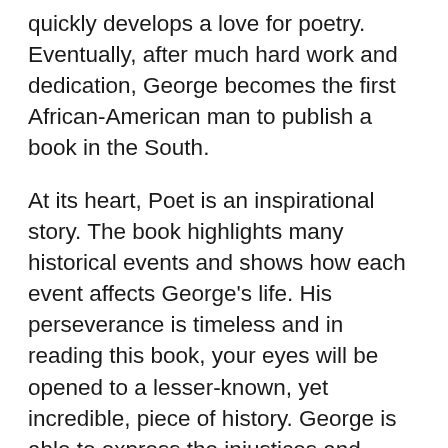quickly develops a love for poetry. Eventually, after much hard work and dedication, George becomes the first African-American man to publish a book in the South.
At its heart, Poet is an inspirational story. The book highlights many historical events and shows how each event affects George’s life. His perseverance is timeless and in reading this book, your eyes will be opened to a lesser-known, yet incredible, piece of history. George is able to express the injustices and heartbreaks he has endured through his poetry, and it eventually becomes his only solace. This story is a remarkable one, and it eases young readers into understanding slavery, how it worked, and how many